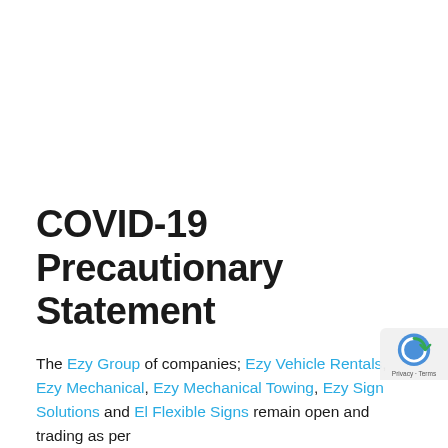COVID-19 Precautionary Statement
The Ezy Group of companies; Ezy Vehicle Rentals, Ezy Mechanical, Ezy Mechanical Towing, Ezy Sign Solutions and El Flexible Signs remain open and trading as per